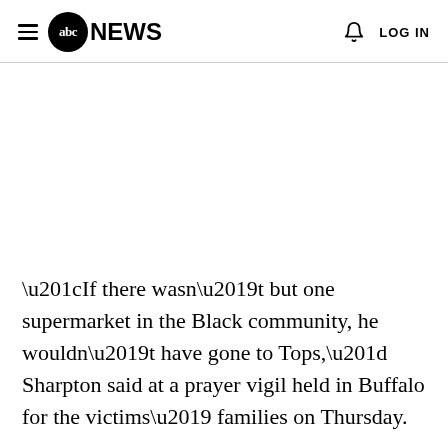abc NEWS  LOG IN
“If there wasn’t but one supermarket in the Black community, he wouldn’t have gone to Tops,” Sharpton said at a prayer vigil held in Buffalo for the victims’ families on Thursday.